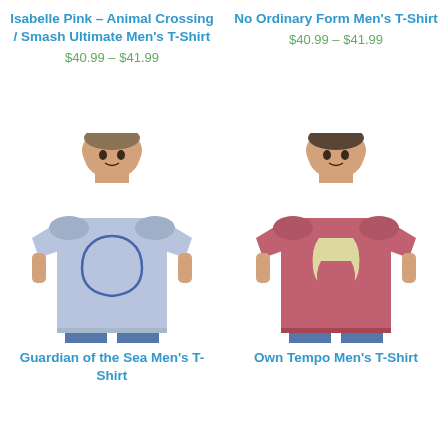Isabelle Pink – Animal Crossing / Smash Ultimate Men's T-Shirt
$40.99 – $41.99
No Ordinary Form Men's T-Shirt
$40.99 – $41.99
[Figure (photo): Man wearing a light blue t-shirt with a blue teardrop/bell shape outline on the front – Isabelle Pink Animal Crossing design]
[Figure (photo): Man wearing a pink/rose t-shirt with cream/yellow curved stripe design on the front – No Ordinary Form design]
Guardian of the Sea Men's T-Shirt
Own Tempo Men's T-Shirt